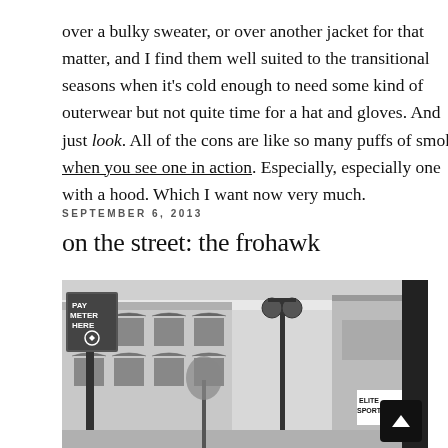over a bulky sweater, or over another jacket for that matter, and I find them well suited to the transitional seasons when it's cold enough to need some kind of outerwear but not quite time for a hat and gloves. And just look. All of the cons are like so many puffs of smoke when you see one in action. Especially, especially one with a hood. Which I want now very much.
SEPTEMBER 6, 2013
on the street: the frohawk
[Figure (photo): Black and white street scene photograph showing storefronts with awnings, a decorative street lamp, and a 'PAY METER HERE' sign in the foreground. Store signs partially visible including what appears to be 'ELITE SPORTS'.]